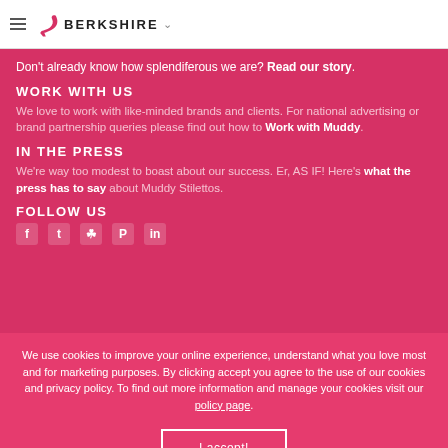BERKSHIRE
Don't already know how splendiferous we are? Read our story.
WORK WITH US
We love to work with like-minded brands and clients. For national advertising or brand partnership queries please find out how to Work with Muddy.
IN THE PRESS
We're way too modest to boast about our success. Er, AS IF! Here's what the press has to say about Muddy Stilettos.
FOLLOW US
[Figure (other): Social media icons: Facebook, Twitter, Instagram, Pinterest, LinkedIn]
We use cookies to improve your online experience, understand what you love most and for marketing purposes. By clicking accept you agree to the use of our cookies and privacy policy. To find out more information and manage your cookies visit our policy page.
I accept!